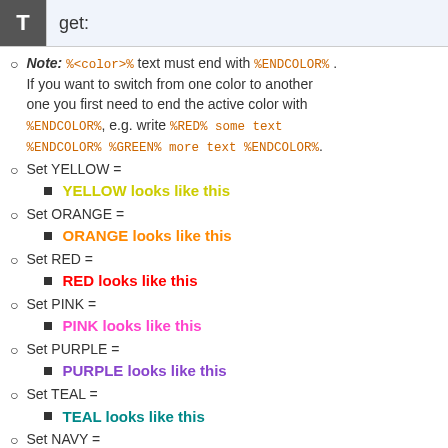get:
Note: %<color>% text must end with %ENDCOLOR% . If you want to switch from one color to another one you first need to end the active color with %ENDCOLOR%, e.g. write %RED% some text %ENDCOLOR% %GREEN% more text %ENDCOLOR%.
Set YELLOW =
YELLOW looks like this
Set ORANGE =
ORANGE looks like this
Set RED =
RED looks like this
Set PINK =
PINK looks like this
Set PURPLE =
PURPLE looks like this
Set TEAL =
TEAL looks like this
Set NAVY =
NAVY looks like this
Set BLUE =
BLUE looks like this